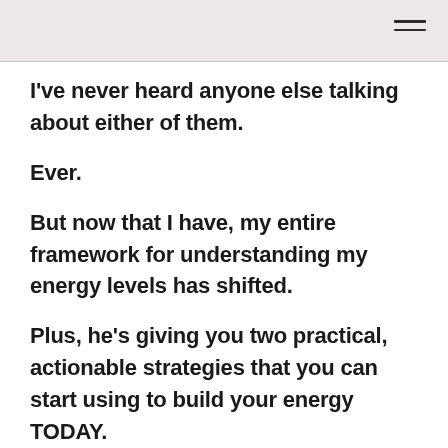I've never heard anyone else talking about either of them.
Ever.
But now that I have, my entire framework for understanding my energy levels has shifted.
Plus, he's giving you two practical, actionable strategies that you can start using to build your energy TODAY.